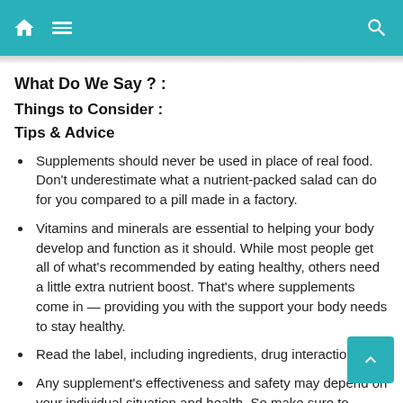Navigation bar with home, menu, and search icons
What Do We Say ? :
Things to Consider :
Tips & Advice
Supplements should never be used in place of real food. Don't underestimate what a nutrient-packed salad can do for you compared to a pill made in a factory.
Vitamins and minerals are essential to helping your body develop and function as it should. While most people get all of what's recommended by eating healthy, others need a little extra nutrient boost. That's where supplements come in — providing you with the support your body needs to stay healthy.
Read the label, including ingredients, drug interactions.
Any supplement's effectiveness and safety may depend on your individual situation and health, So make sure to contact a professional before consuming anything.